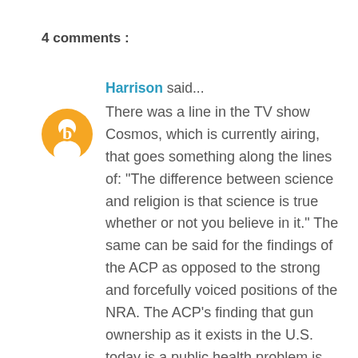4 comments :
Harrison said...
There was a line in the TV show Cosmos, which is currently airing, that goes something along the lines of: "The difference between science and religion is that science is true whether or not you believe in it." The same can be said for the findings of the ACP as opposed to the strong and forcefully voiced positions of the NRA. The ACP's finding that gun ownership as it exists in the U.S. today is a public health problem is true whether the NRA acknowledges it or denounces it. We would have far fewer suicides and homicides if we had less